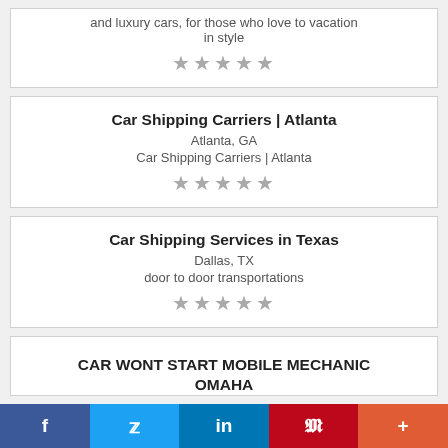and luxury cars, for those who love to vacation in style
★★★★★
Car Shipping Carriers | Atlanta
Atlanta, GA
Car Shipping Carriers | Atlanta
★★★★★
Car Shipping Services in Texas
Dallas, TX
door to door transportations
★★★★★
CAR WONT START MOBILE MECHANIC OMAHA
f  🐦  in  𝗣  +